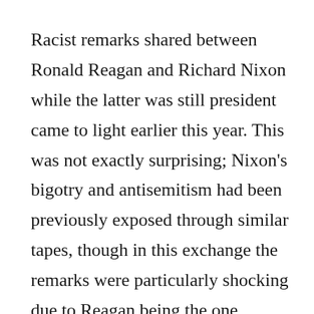Racist remarks shared between Ronald Reagan and Richard Nixon while the latter was still president came to light earlier this year. This was not exactly surprising; Nixon's bigotry and antisemitism had been previously exposed through similar tapes, though in this exchange the remarks were particularly shocking due to Reagan being the one instigating them and Nixon being encouraged by them. Tim Naftali who was the first director of the Nixon Presidential Library